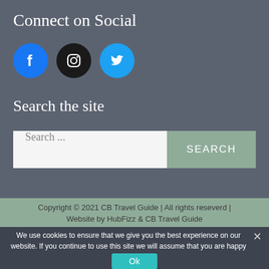Connect on Social
[Figure (illustration): Three social media icon circles: Facebook (blue), Instagram (black), Twitter (light blue)]
Search the site
Search ...
Copyright © 2021 CB Travel Guide | All rights reseverd | Website by HubFizz & CB Travel Guide
We use cookies to ensure that we give you the best experience on our website. If you continue to use this site we will assume that you are happy with it.
Ok